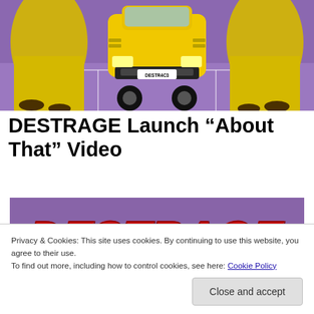[Figure (photo): Photo of people in yellow hazmat suits crouching beside a yellow sports car with license plate DESTR4C3 on a purple floor]
DESTRAGE Launch “About That” Video
[Figure (photo): DESTRAGE logo in red graffiti-style lettering on a purple background]
Privacy & Cookies: This site uses cookies. By continuing to use this website, you agree to their use.
To find out more, including how to control cookies, see here: Cookie Policy
Close and accept